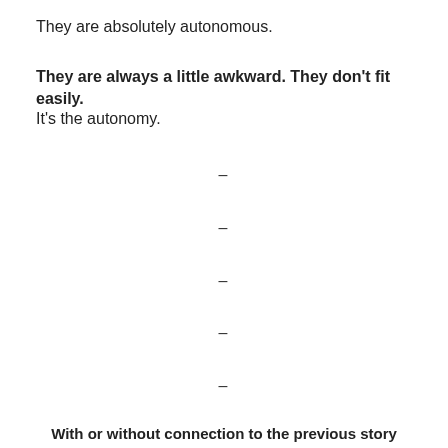They are absolutely autonomous.
They are always a little awkward. They don't fit easily.
It's the autonomy.
–
–
–
–
–
With or without connection to the previous story
[Figure (photo): A room with white walls, framed artwork or signs hanging, including a dark red framed item on the left and two lighter framed items to the right.]